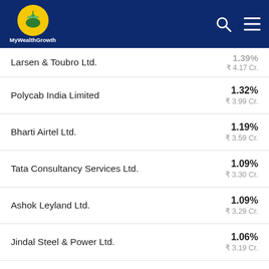MyWealthGrowth
| Company | Percentage / Value |
| --- | --- |
| Larsen & Toubro Ltd. | 1.39% / ₹ 4.17 Cr. |
| Polycab India Limited | 1.32% / ₹ 3.99 Cr. |
| Bharti Airtel Ltd. | 1.19% / ₹ 3.59 Cr. |
| Tata Consultancy Services Ltd. | 1.09% / ₹ 3.30 Cr. |
| Ashok Leyland Ltd. | 1.09% / ₹ 3.29 Cr. |
| Jindal Steel & Power Ltd. | 1.06% / ₹ 3.19 Cr. |
| Tata Consumer Products Ltd. | 1.03% / ₹ 3.10 Cr. |
| Tata Steel Ltd. | 0.99% / ₹ 2.98 Cr. |